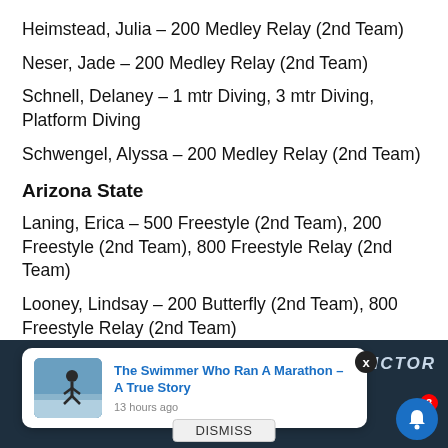Heimstead, Julia – 200 Medley Relay (2nd Team)
Neser, Jade – 200 Medley Relay (2nd Team)
Schnell, Delaney – 1 mtr Diving, 3 mtr Diving, Platform Diving
Schwengel, Alyssa – 200 Medley Relay (2nd Team)
Arizona State
Laning, Erica – 500 Freestyle (2nd Team), 200 Freestyle (2nd Team), 800 Freestyle Relay (2nd Team)
Looney, Lindsay – 200 Butterfly (2nd Team), 800 Freestyle Relay (2nd Team)
Milligan, Erin – 800 Freestyle Relay (2nd Team)
[Figure (screenshot): Notification popup card showing 'The Swimmer Who Ran A Marathon – A True Story' posted 13 hours ago, with a DISMISS button, overlaying a dark background with 'AVICTOR' logo and a bell notification icon with badge count of 3.]